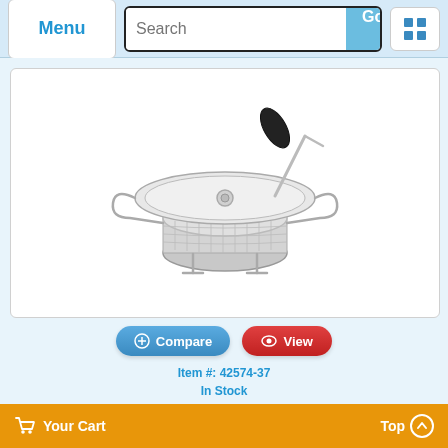Menu | Search | Go
[Figure (photo): Stainless Steel 8 Qt. Food Mill #5, 3 Mm Sieve product photo showing a chrome/silver food mill with black handle and mesh basket]
Compare | View
Item #: 42574-37
In Stock
Stainless Steel 8 Qt. Food Mill #5, 3 Mm Sieve
Retail: $778.50
$460.00
Your Cart | Top